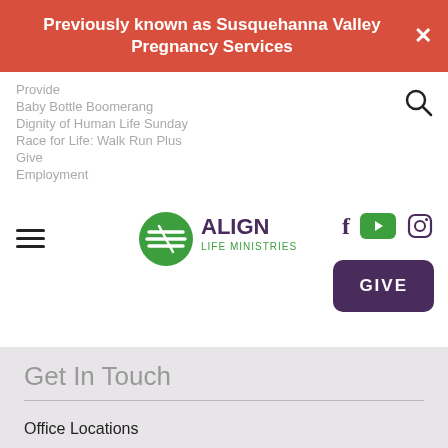Previously known as Susquehanna Valley Pregnancy Services
Provide
Baby Bottle Boomerang
Dignity of Human Life Sunday
Race for Life: Walk Run Plus
Give
Employment
[Figure (logo): Align Life Ministries logo with green circular icon and text]
Get In Touch
Office Locations
Schedule an Appointment
Contact Us
Request a Speaker
GIVE